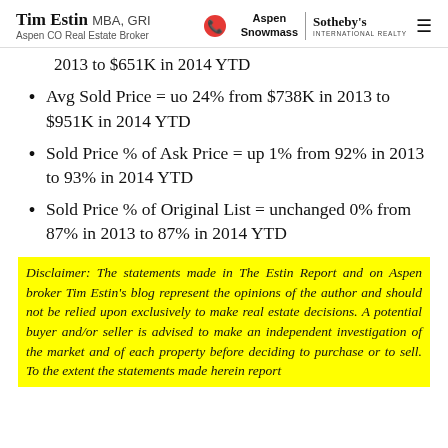Tim Estin MBA, GRI — Aspen CO Real Estate Broker — Aspen Snowmass Sotheby's International Realty
2013 to $651K in 2014 YTD
Avg Sold Price = uo 24% from $738K in 2013 to $951K in 2014 YTD
Sold Price % of Ask Price = up 1% from 92% in 2013 to 93% in 2014 YTD
Sold Price % of Original List = unchanged 0% from 87% in 2013 to 87% in 2014 YTD
Disclaimer: The statements made in The Estin Report and on Aspen broker Tim Estin's blog represent the opinions of the author and should not be relied upon exclusively to make real estate decisions. A potential buyer and/or seller is advised to make an independent investigation of the market and of each property before deciding to purchase or to sell. To the extent the statements made herein report